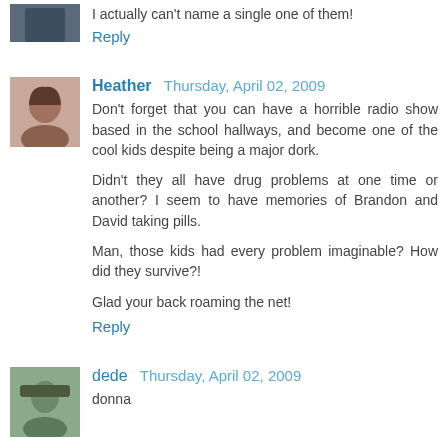I actually can't name a single one of them!
Reply
Heather  Thursday, April 02, 2009
Don't forget that you can have a horrible radio show based in the school hallways, and become one of the cool kids despite being a major dork.
Didn't they all have drug problems at one time or another? I seem to have memories of Brandon and David taking pills.
Man, those kids had every problem imaginable? How did they survive?!
Glad your back roaming the net!
Reply
dede  Thursday, April 02, 2009
donna